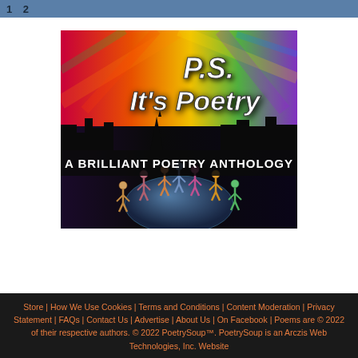1 2
[Figure (illustration): Book cover for 'PS: It's Poetry - A Brilliant Poetry Anthology'. Colorful fireworks-like background in red, orange, yellow, green and purple at the top. City skyline silhouette in dark. White hand-lettered title 'P.S. It's Poetry'. Bold white text below reads 'A BRILLIANT POETRY ANTHOLOGY'. Bottom portion shows illustrated stick figures holding hands in a circle on a globe/earth.]
Store | How We Use Cookies | Terms and Conditions | Content Moderation | Privacy Statement | FAQs | Contact Us | Advertise | About Us | On Facebook | Poems are © 2022 of their respective authors. © 2022 PoetrySoup™. PoetrySoup is an Arczis Web Technologies, Inc. Website